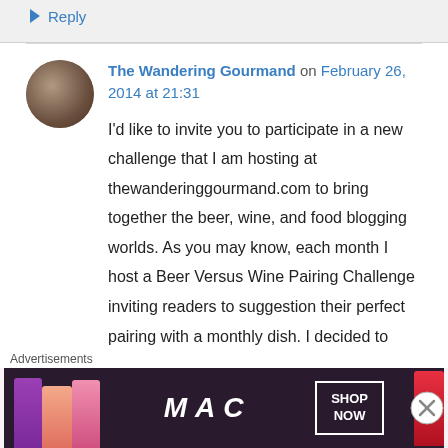Reply
The Wandering Gourmand on February 26, 2014 at 21:31
I'd like to invite you to participate in a new challenge that I am hosting at thewanderinggourmand.com to bring together the beer, wine, and food blogging worlds. As you may know, each month I host a Beer Versus Wine Pairing Challenge inviting readers to suggestion their perfect pairing with a monthly dish. I decided to make the challenge even more
[Figure (photo): MAC cosmetics advertisement showing lipsticks with SHOP NOW button]
Advertisements